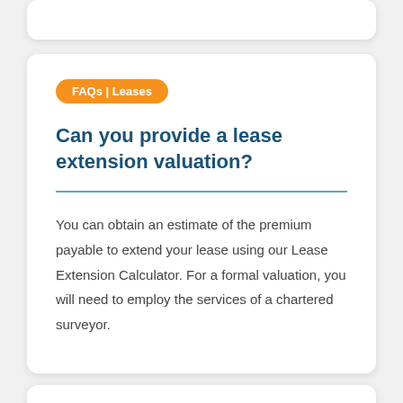FAQs | Leases
Can you provide a lease extension valuation?
You can obtain an estimate of the premium payable to extend your lease using our Lease Extension Calculator. For a formal valuation, you will need to employ the services of a chartered surveyor.
FAQs | Ground Rent